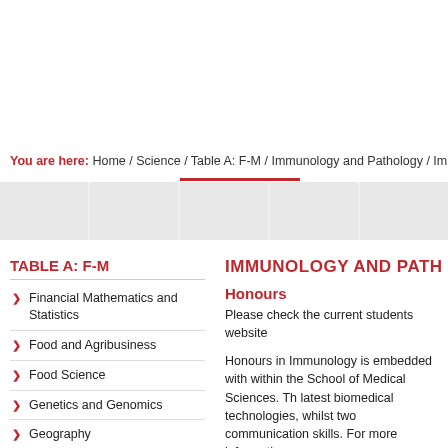You are here: Home / Science / Table A: F-M / Immunology and Pathology / Im
TABLE A: F-M
Financial Mathematics and Statistics
Food and Agribusiness
Food Science
Genetics and Genomics
Geography
Geology and Geophysics
Health
IMMUNOLOGY AND PATH
Honours
Please check the current students website
Honours in Immunology is embedded with within the School of Medical Sciences. Th latest biomedical technologies, whilst two communication skills. For more informatio